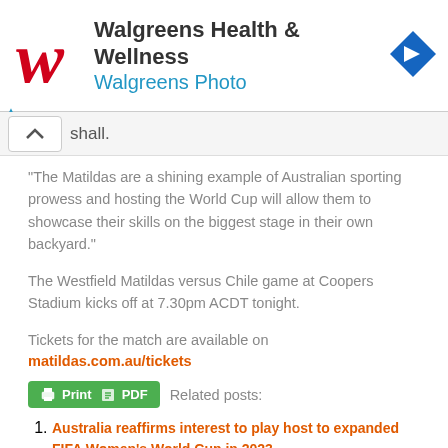[Figure (logo): Walgreens Health & Wellness advertisement banner with red W logo, blue navigation arrow icon, and Walgreens Photo subtitle]
shall.
“The Matildas are a shining example of Australian sporting prowess and hosting the World Cup will allow them to showcase their skills on the biggest stage in their own backyard.”
The Westfield Matildas versus Chile game at Coopers Stadium kicks off at 7.30pm ACDT tonight.
Tickets for the match are available on matildas.com.au/tickets
Related posts:
Australia reaffirms interest to play host to expanded FIFA Women's World Cup in 2023
Women's football makes giant strides in Australia